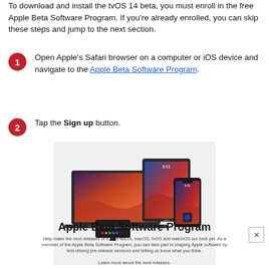To download and install the tvOS 14 beta, you must enroll in the free Apple Beta Software Program. If you're already enrolled, you can skip these steps and jump to the next section.
Open Apple's Safari browser on a computer or iOS device and navigate to the Apple Beta Software Program.
Tap the Sign up button.
[Figure (screenshot): Screenshot of Apple Beta Software Program webpage showing Apple devices (MacBook, iPad, iPhone, Apple TV, Apple Watch) with macOS Big Sur wallpaper, and the Apple Beta Software Program title and description text]
Apple Beta Software Program
Help make the next releases of iOS, iPadOS, macOS, tvOS and watchOS our best yet. As a member of the Apple Beta Software Program, you can take part in shaping Apple software by test-driving pre-release versions and letting us know what you think.
Learn more about the next releases.